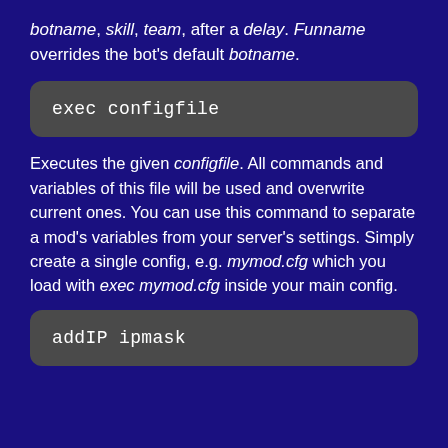botname, skill, team, after a delay. Funname overrides the bot's default botname.
exec configfile
Executes the given configfile. All commands and variables of this file will be used and overwrite current ones. You can use this command to separate a mod's variables from your server's settings. Simply create a single config, e.g. mymod.cfg which you load with exec mymod.cfg inside your main config.
addIP ipmask